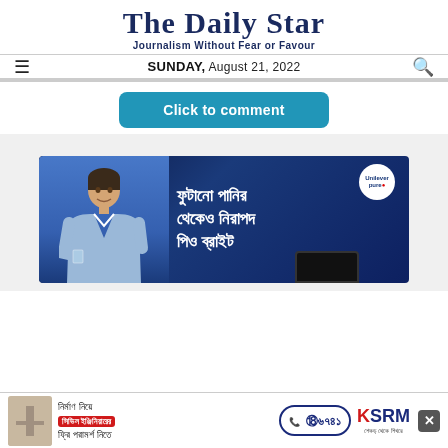The Daily Star — Journalism Without Fear or Favour
SUNDAY, August 21, 2022
[Figure (screenshot): Blue rounded button with text 'Click to comment']
[Figure (photo): Advertisement for Unilever Pure water purifier showing a man in blue shirt holding a glass of water, with Bengali text meaning 'Safer than bottled water, drink it']
[Figure (photo): Bottom advertisement banner for KSRM with Bengali text about civil engineering consultancy and phone number 16741]